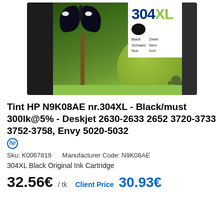[Figure (photo): HP N9K08AE 304XL Black ink cartridge product box with butterfly and green plant photography on the packaging]
Tint HP N9K08AE nr.304XL - Black/must 300lk@5% - Deskjet 2630-2633 2652 3720-3733 3752-3758, Envy 5020-5032
Sku: K0067819    Manufacturer Code: N9K08AE
304XL Black Original Ink Cartridge
32.56€ / tk    Client Price 30.93€